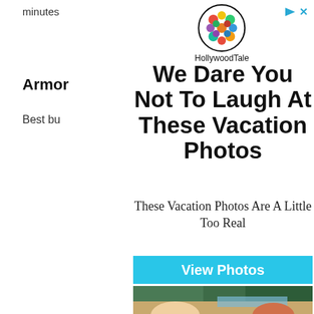minutes
Armor
Best bu
[Figure (infographic): HollywoodTale advertisement with colorful ball-logo, headline 'We Dare You Not To Laugh At These Vacation Photos', subtext 'These Vacation Photos Are A Little Too Real', a cyan 'View Photos' CTA button, and a beach photo of a laughing woman and a man with fist raised.]